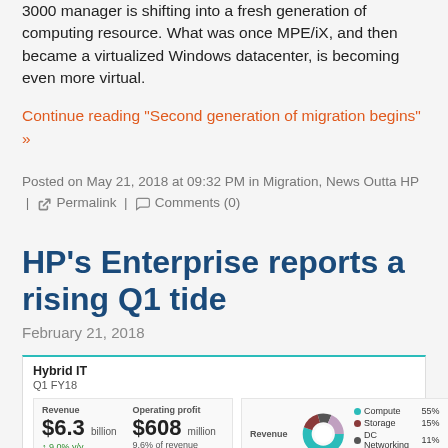3000 manager is shifting into a fresh generation of computing resource. What was once MPE/iX, and then became a virtualized Windows datacenter, is becoming even more virtual.
Continue reading "Second generation of migration begins" »
Posted on May 21, 2018 at 09:32 PM in Migration, News Outta HP | Permalink | Comments (0)
HP's Enterprise reports a rising Q1 tide
February 21, 2018
[Figure (infographic): Hybrid IT Q1 FY18 infographic showing Revenue $6.3 billion, Operating profit $608 million (9.6% of revenue), and a donut chart breaking down revenue by segment: Compute 55%, Storage 15%, DC Networking 11%, PointNext 24%. Bottom row shows Compute segment detail.]